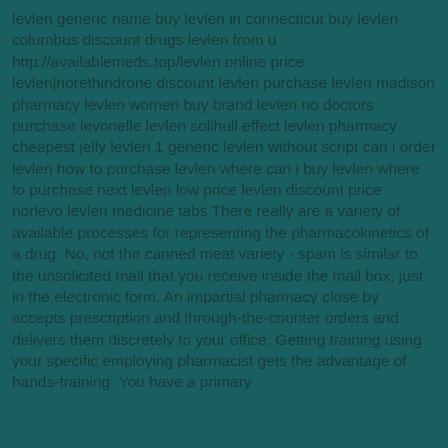levlen generic name buy levlen in connecticut buy levlen columbus discount drugs levlen from u http://availablemeds.top/levlen online price levlen|norethindrone discount levlen purchase levlen madison pharmacy levlen women buy brand levlen no doctors purchase levonelle levlen solihull effect levlen pharmacy cheapest jelly levlen 1 generic levlen without script can i order levlen how to purchase levlen where can i buy levlen where to purchase next levlen low price levlen discount price norlevo levlen medicine tabs There really are a variety of available processes for representing the pharmacokinetics of a drug. No, not the canned meat variety - spam is similar to the unsolicited mail that you receive inside the mail box, just in the electronic form. An impartial pharmacy close by accepts prescription and through-the-counter orders and delivers them discretely to your office. Getting training using your specific employing pharmacist gets the advantage of hands-training. You have a primary